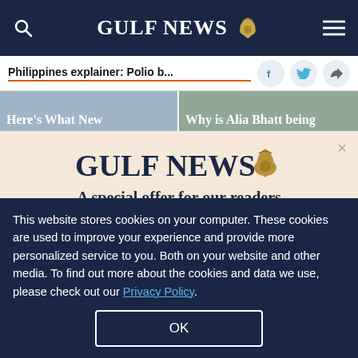GULF NEWS
Philippines explainer: Polio b...
Here's What New
Why is Alia Bhatt being
[Figure (logo): Gulf News logo with eagle emblem]
A special offer for our readers
Get the two years All-Access subscription now
This website stores cookies on your computer. These cookies are used to improve your experience and provide more personalized service to you. Both on your website and other media. To find out more about the cookies and data we use, please check out our Privacy Policy.
OK